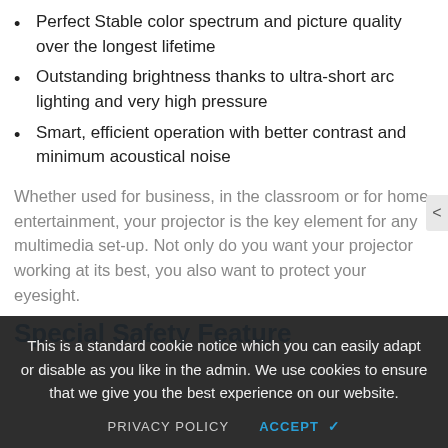Perfect Stable color spectrum and picture quality over the longest lifetime
Outstanding brightness thanks to ultra-short arc lighting and very high pressure
Smart, efficient operation with better contrast and minimum acoustical noise
Whether used for business, in the classroom or for home entertainment, your projector is the key element for any multimedia set-up. Not only do you want your projector working at its best, you also want to protect your eyesight.
Special Safety Feature
This is a standard cookie notice which you can easily adapt or disable as you like in the admin. We use cookies to ensure that we give you the best experience on our website.